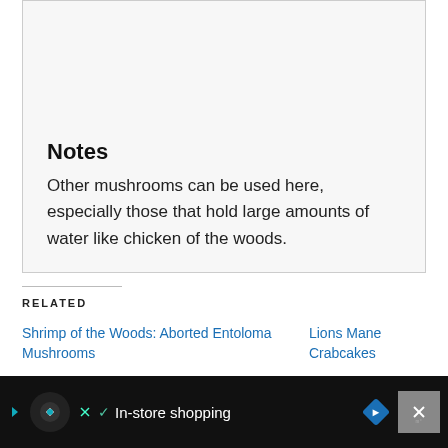Notes
Other mushrooms can be used here, especially those that hold large amounts of water like chicken of the woods.
RELATED
Shrimp of the Woods: Aborted Entoloma Mushrooms
Lions Mane Crabcakes
[Figure (other): Advertisement bar: circular dark icon with arrow, checkmark, 'In-store shopping' text, blue diamond navigation icon, and X close button on dark background]